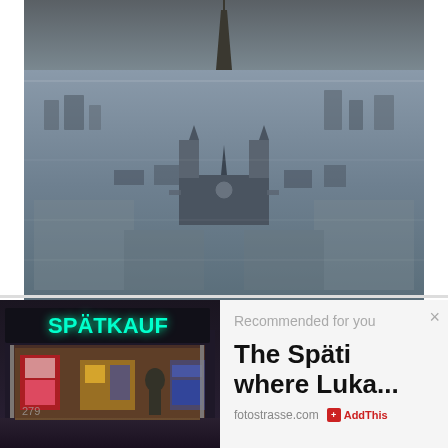[Figure (photo): Aerial photograph of Paris showing the Eiffel Tower in the upper portion and Notre-Dame Cathedral prominently in the center-lower portion, with the dense Haussmannian cityscape stretching across the frame in cool bluish tones]
[Figure (photo): Night photo of a Spätkauf (late-night convenience store) in Berlin, with bright cyan neon 'SPÄTKAUF' sign, blue advertisement signs, illuminated interior showing products and a person inside, dark exterior]
Recommended for you
The Späti where Luka...
fotostrasse.com
AddThis